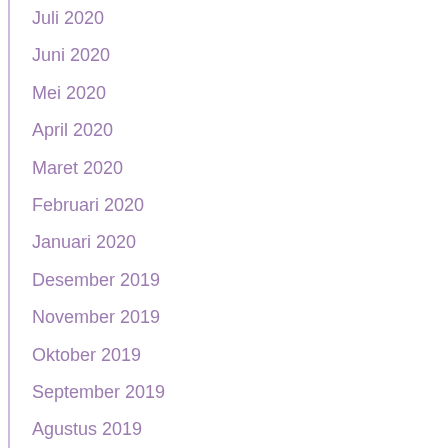Juli 2020
Juni 2020
Mei 2020
April 2020
Maret 2020
Februari 2020
Januari 2020
Desember 2019
November 2019
Oktober 2019
September 2019
Agustus 2019
Juli 2019
Juni 2019